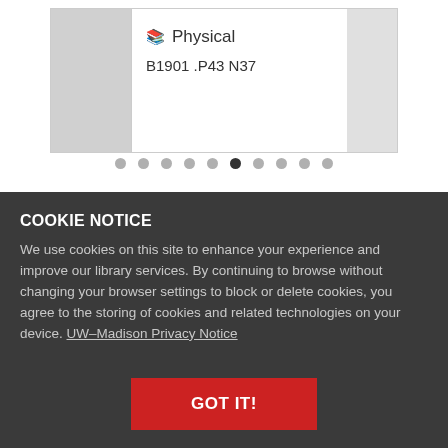[Figure (screenshot): Library catalog card showing a Physical item with call number B1901.P43 N37, with navigation dots below indicating carousel position (6th of 10 active)]
COOKIE NOTICE
We use cookies on this site to enhance your experience and improve our library services. By continuing to browse without changing your browser settings to block or delete cookies, you agree to the storing of cookies and related technologies on your device. UW–Madison Privacy Notice
GOT IT!